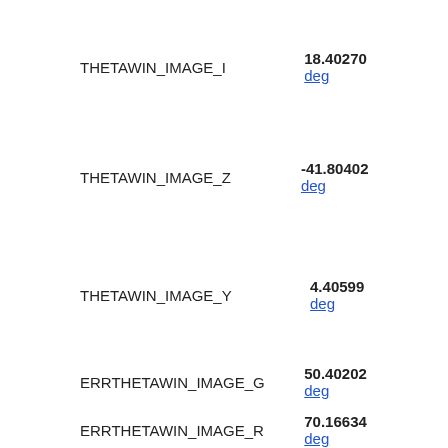THETAWIN_IMAGE_I   18.40270 deg
THETAWIN_IMAGE_Z   -41.80402 deg
THETAWIN_IMAGE_Y   4.40599 deg
ERRTHETAWIN_IMAGE_G   50.40202 deg
ERRTHETAWIN_IMAGE_R   70.16634 deg